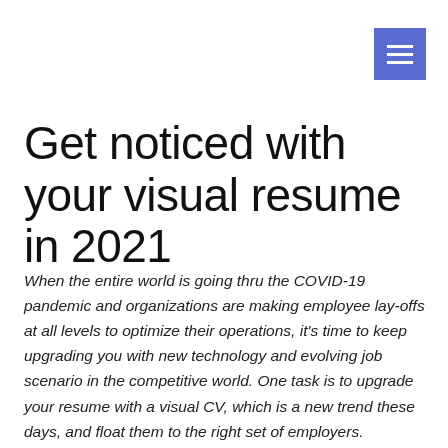[Figure (other): Hamburger menu button — blue square with three white horizontal lines]
Get noticed with your visual resume in 2021
When the entire world is going thru the COVID-19 pandemic and organizations are making employee lay-offs at all levels to optimize their operations, it's time to keep upgrading you with new technology and evolving job scenario in the competitive world. One task is to upgrade your resume with a visual CV, which is a new trend these days, and float them to the right set of employers.